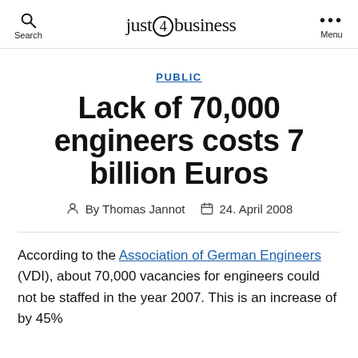Search  just4business  Menu
PUBLIC
Lack of 70,000 engineers costs 7 billion Euros
By Thomas Jannot  24. April 2008
According to the Association of German Engineers (VDI), about 70,000 vacancies for engineers could not be staffed in the year 2007. This is an increase of by 45%